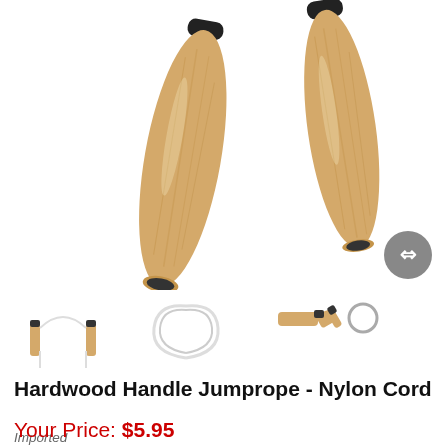[Figure (photo): Two hardwood jump rope handles photographed from above on white background, showing wooden grip barrels with black metal end caps]
[Figure (photo): Three thumbnail images of the jump rope: full rope with handles, coiled rope, and close-up of handle end]
Hardwood Handle Jumprope - Nylon Cord
Imported
Item # 8605
Your Price: $5.95